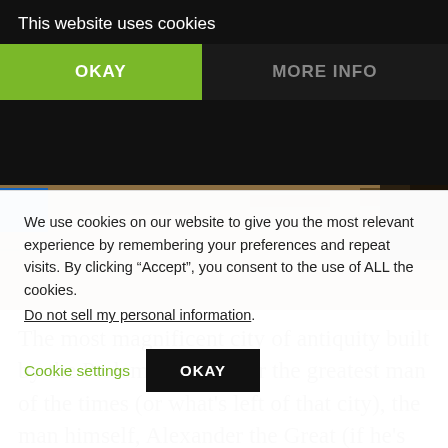This website uses cookies
OKAY
MORE INFO
[Figure (photo): Archaeological site photo showing sandy/rocky terrain, possibly ancient ruins or desert landscape]
The most magnificent city of antiquity built by the Ptolemys to honour the greatest man of the times (or what’s left of that city), the man himself, Alexander the Great (if he’s indeed resting around here), the new
We use cookies on our website to give you the most relevant experience by remembering your preferences and repeat visits. By clicking “Accept”, you consent to the use of ALL the cookies.
Do not sell my personal information.
Cookie settings
OKAY